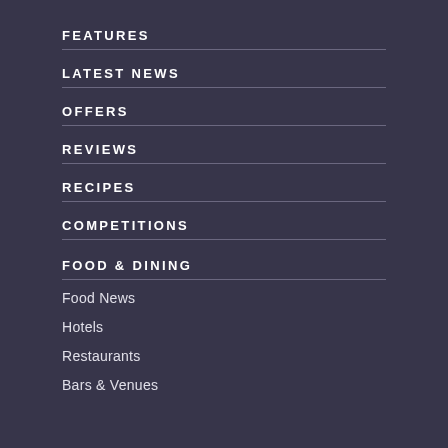FEATURES
LATEST NEWS
OFFERS
REVIEWS
RECIPES
COMPETITIONS
FOOD & DINING
Food News
Hotels
Restaurants
Bars & Venues